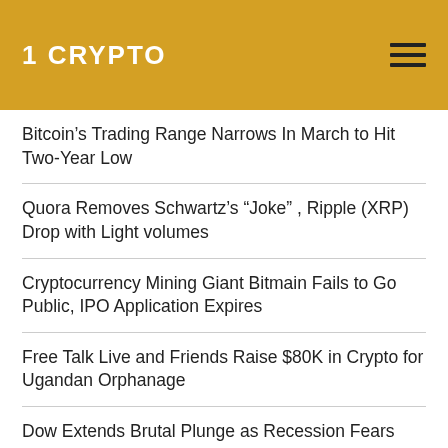1 CRYPTO
Bitcoin's Trading Range Narrows In March to Hit Two-Year Low
Quora Removes Schwartz's “Joke” , Ripple (XRP) Drop with Light volumes
Cryptocurrency Mining Giant Bitmain Fails to Go Public, IPO Application Expires
Free Talk Live and Friends Raise $80K in Crypto for Ugandan Orphanage
Dow Extends Brutal Plunge as Recession Fears Pummel Stock Market
Microsoft Bing Trashed 5 Million Crypto Ads in 2018: Who Cares?